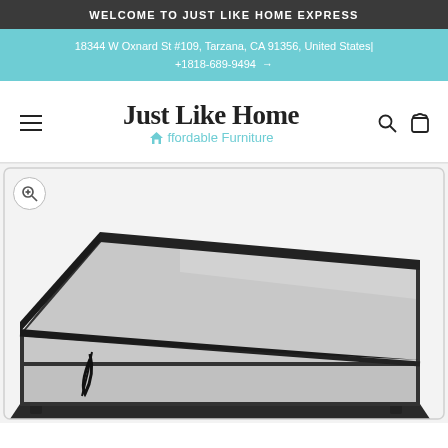WELCOME TO JUST LIKE HOME EXPRESS
18344 W Oxnard St #109, Tarzana, CA 91356, United States| +1818-689-9494 →
[Figure (logo): Just Like Home Affordable Furniture logo with teal house icon]
[Figure (photo): Adjustable bed base shown in reclined position with head raised, black frame, gray surface, photographed from the side at an angle.]